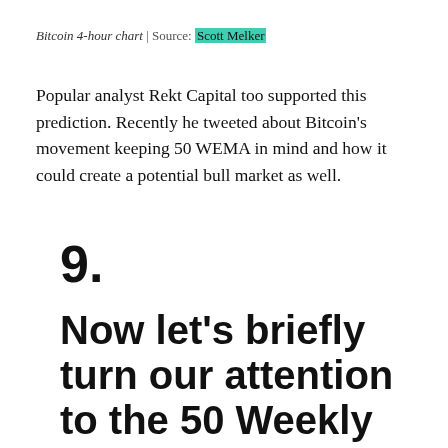Bitcoin 4-hour chart | Source: Scott Melker
Popular analyst Rekt Capital too supported this prediction. Recently he tweeted about Bitcoin's movement keeping 50 WEMA in mind and how it could create a potential bull market as well.
9.
Now let's briefly turn our attention to the 50 Weekly Exponential Moving Average (50 WEMA, blue)